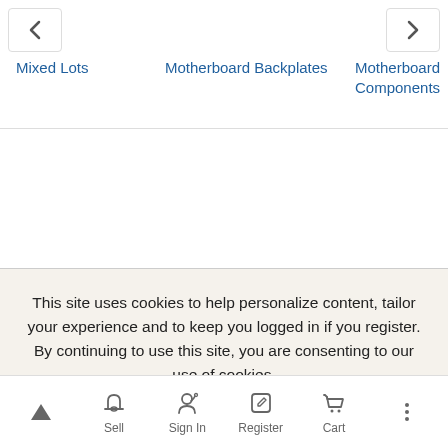Mixed Lots
Motherboard Backplates
Motherboard Components
This site uses cookies to help personalize content, tailor your experience and to keep you logged in if you register. By continuing to use this site, you are consenting to our use of cookies.
Accept
Cookie usage
Sell  Sign In  Register  Cart